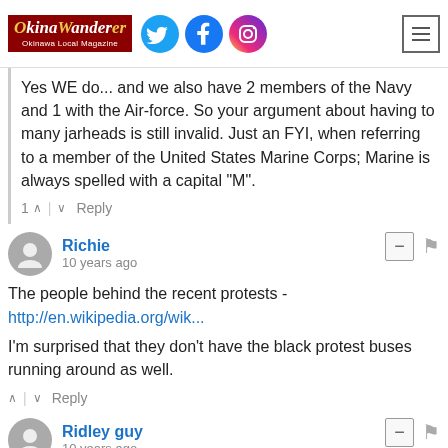[Figure (logo): Okinawa Wanderer logo with social media icons (Twitter, Facebook, Instagram) and hamburger menu button]
Yes WE do... and we also have 2 members of the Navy and 1 with the Air-force. So your argument about having to many jarheads is still invalid. Just an FYI, when referring to a member of the United States Marine Corps; Marine is always spelled with a capital "M".
1 ^ | v Reply
Richie
10 years ago
The people behind the recent protests -
http://en.wikipedia.org/wik...

I'm surprised that they don't have the black protest buses running around as well.
^ | v Reply
Ridley guy
10 years ago
It wil be hard to get down to "0" incidents on Okinawa, to many